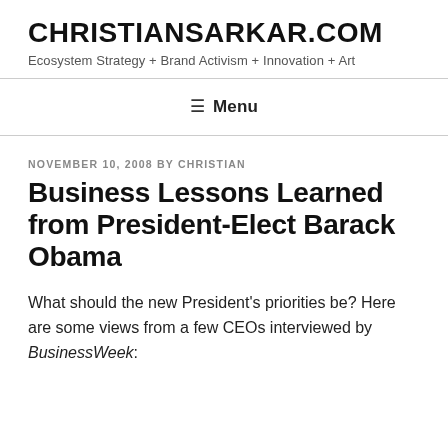CHRISTIANSARKAR.COM
Ecosystem Strategy + Brand Activism + Innovation + Art
≡ Menu
NOVEMBER 10, 2008 BY CHRISTIAN
Business Lessons Learned from President-Elect Barack Obama
What should the new President's priorities be? Here are some views from a few CEOs interviewed by BusinessWeek: